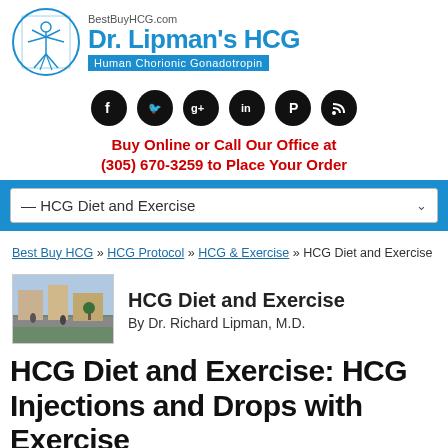[Figure (logo): Dr. Lipman's HCG logo with Vitruvian man figure, BestBuyHCG.com domain, blue title and Human Chorionic Gonadotropin subtitle bar]
[Figure (infographic): Row of 6 social media icons (Facebook, Twitter, Google+, LinkedIn, Pinterest, RSS) as white symbols on black circles]
Buy Online or Call Our Office at (305) 670-3259 to Place Your Order
— HCG Diet and Exercise
Best Buy HCG » HCG Protocol » HCG & Exercise » HCG Diet and Exercise
[Figure (photo): Small photo thumbnail showing outdoor street scene with people]
HCG Diet and Exercise
By Dr. Richard Lipman, M.D.
HCG Diet and Exercise: HCG Injections and Drops with Exercise